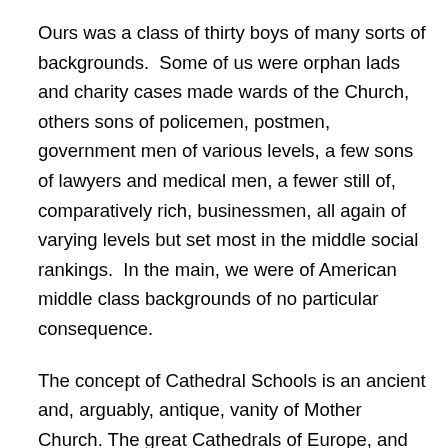Ours was a class of thirty boys of many sorts of backgrounds.  Some of us were orphan lads and charity cases made wards of the Church, others sons of policemen, postmen, government men of various levels, a few sons of lawyers and medical men, a fewer still of, comparatively rich, businessmen, all again of varying levels but set most in the middle social rankings.  In the main, we were of American middle class backgrounds of no particular consequence.
The concept of Cathedral Schools is an ancient and, arguably, antique, vanity of Mother Church. The great Cathedrals of Europe, and her later colonies, all had schools appending to train young lads to be priests for the Diocese.  Many still do.  In keeping with that practice, the idea and purpose of our Cathedral Latin School was to